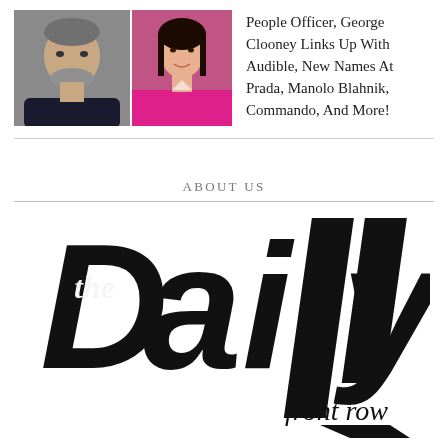[Figure (photo): Two portrait photos side by side: a man with grey beard in dark clothing on the left, and a woman in bright pink top on the right]
People Officer, George Clooney Links Up With Audible, New Names At Prada, Manolo Blahnik, Commando, And More!
ABOUT US
[Figure (logo): The Daily Front Row logo in large bold black italic display font with 'the' in script, 'Daily' in bold italic, and 'front row' in script below]